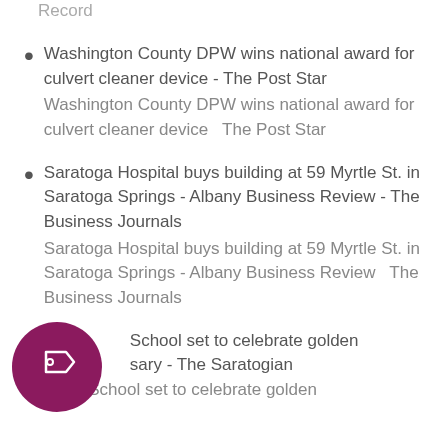Record
Washington County DPW wins national award for culvert cleaner device - The Post Star
Washington County DPW wins national award for culvert cleaner device  The Post Star
Saratoga Hospital buys building at 59 Myrtle St. in Saratoga Springs - Albany Business Review - The Business Journals
Saratoga Hospital buys building at 59 Myrtle St. in Saratoga Springs - Albany Business Review  The Business Journals
School set to celebrate golden anniversary - The Saratogian
Page School set to celebrate golden